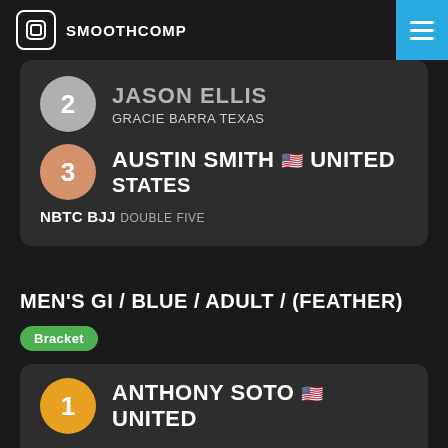SMOOTHCOMP
2 — JASON ELLIS (partial) — Gracie Barra Texas
3 — AUSTIN SMITH 🇺🇸 UNITED STATES — NBTC BJJ DOUBLE FIVE
MEN'S GI / BLUE / ADULT / (FEATHER)
Bracket
1 — ANTHONY SOTO 🇺🇸 UNITED (partial)